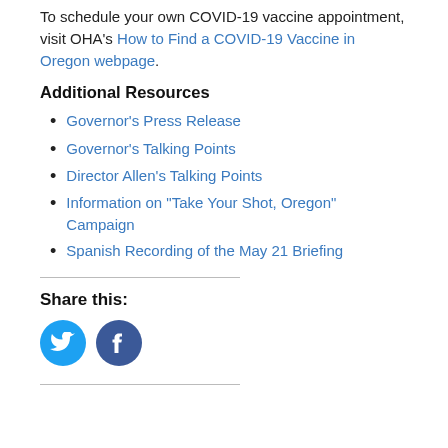To schedule your own COVID-19 vaccine appointment, visit OHA's How to Find a COVID-19 Vaccine in Oregon webpage.
Additional Resources
Governor's Press Release
Governor's Talking Points
Director Allen's Talking Points
Information on "Take Your Shot, Oregon" Campaign
Spanish Recording of the May 21 Briefing
Share this:
[Figure (illustration): Twitter and Facebook social share icons (circular blue buttons with bird and f logos)]